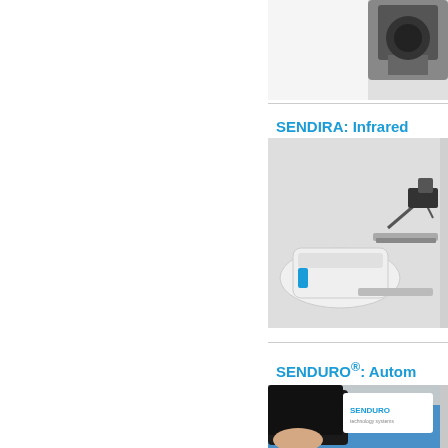[Figure (photo): Partial view of a scientific instrument or camera equipment on white background, cropped at top]
SENDIRA: Infrared
[Figure (photo): SENDIRA infrared spectrometer instrument - white device with robotic arm accessory on grey background]
SENDURO®: Autom
[Figure (photo): SENDURO branded product being held or demonstrated, with blue surface visible]